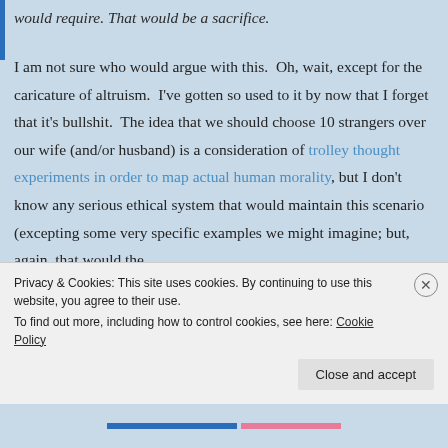would require. That would be a sacrifice.
I am not sure who would argue with this. Oh, wait, except for the caricature of altruism. I've gotten so used to it by now that I forget that it's bullshit. The idea that we should choose 10 strangers over our wife (and/or husband) is a consideration of trolley thought experiments in order to map actual human morality, but I don't know any serious ethical system that would maintain this scenario (excepting some very specific examples we might imagine; but, again, that would the
Privacy & Cookies: This site uses cookies. By continuing to use this website, you agree to their use.
To find out more, including how to control cookies, see here: Cookie Policy